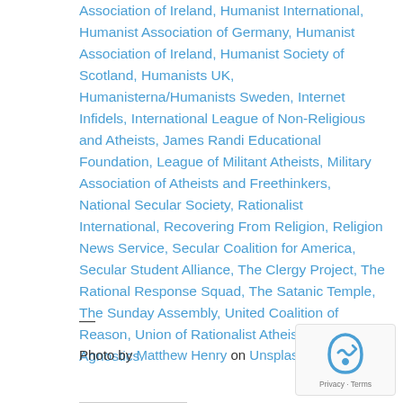Association of Ireland, Humanist International, Humanist Association of Germany, Humanist Association of Ireland, Humanist Society of Scotland, Humanists UK, Humanisterna/Humanists Sweden, Internet Infidels, International League of Non-Religious and Atheists, James Randi Educational Foundation, League of Militant Atheists, Military Association of Atheists and Freethinkers, National Secular Society, Rationalist International, Recovering From Religion, Religion News Service, Secular Coalition for America, Secular Student Alliance, The Clergy Project, The Rational Response Squad, The Satanic Temple, The Sunday Assembly, United Coalition of Reason, Union of Rationalist Atheists and Agnostics.
—
Photo by Matthew Henry on Unsplash